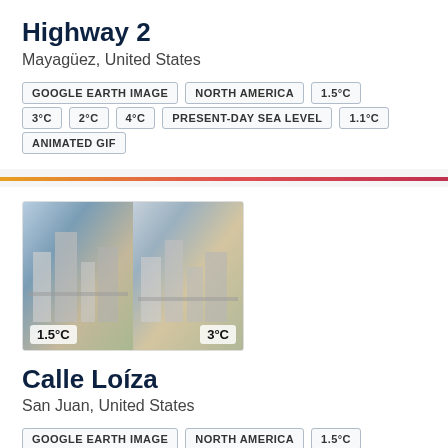Highway 2
Mayagüez, United States
GOOGLE EARTH IMAGE
NORTH AMERICA
1.5°C
3°C
2°C
4°C
PRESENT-DAY SEA LEVEL
1.1°C
ANIMATED GIF
[Figure (photo): Side-by-side aerial photos of Calle Loíza area in San Juan, United States. Left image labeled 1.5°C, right image labeled 3°C.]
Calle Loíza
San Juan, United States
GOOGLE EARTH IMAGE
NORTH AMERICA
1.5°C